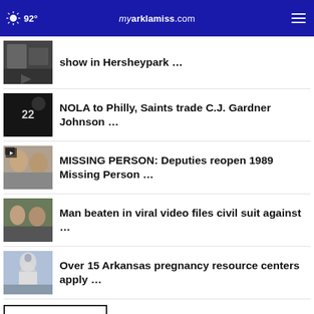92° myarklamiss.com
show in Hersheypark …
NOLA to Philly, Saints trade C.J. Gardner Johnson …
MISSING PERSON: Deputies reopen 1989 Missing Person …
Man beaten in viral video files civil suit against …
Over 15 Arkansas pregnancy resource centers apply …
More Stories ›